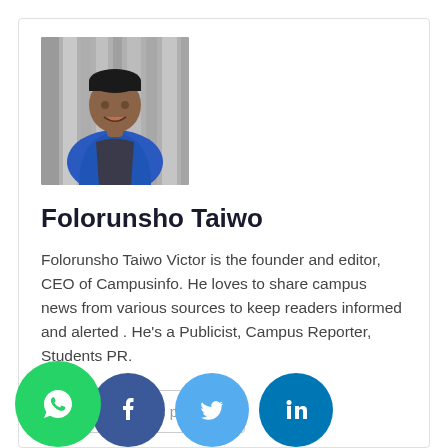[Figure (photo): Portrait photo of Folorunsho Taiwo, a young man wearing a blue jacket, seated, smiling, with striped background]
Folorunsho Taiwo
Folorunsho Taiwo Victor is the founder and editor, CEO of Campusinfo. He loves to share campus news from various sources to keep readers informed and alerted . He’s a Publicist, Campus Reporter, Students PR.
See author's posts
[Figure (illustration): Social media icon buttons: WhatsApp (green), Facebook (dark blue), Twitter (light blue), LinkedIn (dark teal blue)]